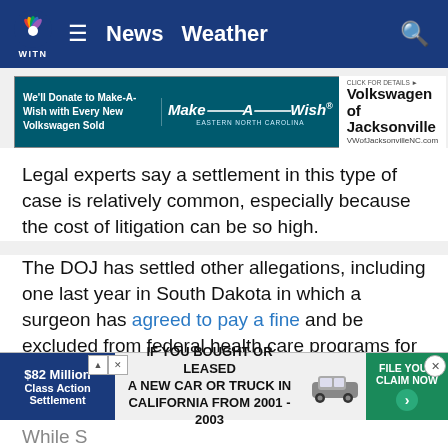WITN News Weather
[Figure (screenshot): Make-A-Wish and Volkswagen of Jacksonville advertisement banner]
Legal experts say a settlement in this type of case is relatively common, especially because the cost of litigation can be so high.
The DOJ has settled other allegations, including one last year in South Dakota in which a surgeon has agreed to pay a fine and be excluded from federal health care programs for six years.
The government accused Apex, which is the POD Dr. Sabit invested in, and its parent company of paying kickbacks to surgeo...
[Figure (screenshot): $82 Million Class Action Settlement advertisement banner - IF YOU BOUGHT OR LEASED A NEW CAR OR TRUCK IN CALIFORNIA FROM 2001 - 2003 FILE YOUR CLAIM NOW]
While S... he